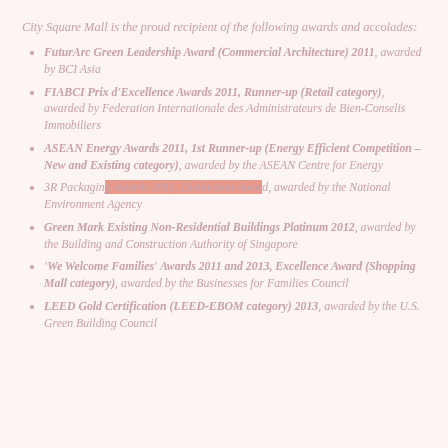City Square Mall is the proud recipient of the following awards and accolades:
FuturArc Green Leadership Award (Commercial Architecture) 2011, awarded by BCI Asia
FIABCI Prix d'Excellence Awards 2011, Runner-up (Retail category), awarded by Federation Internationale des Administrateurs de Bien-Conselis Immobiliers
ASEAN Energy Awards 2011, 1st Runner-up (Energy Efficient Competition – New and Existing category), awarded by the ASEAN Centre for Energy
3R Packaging Awards 2011, Distinction Award, awarded by the National Environment Agency
Green Mark Existing Non-Residential Buildings Platinum 2012, awarded by the Building and Construction Authority of Singapore
'We Welcome Families' Awards 2011 and 2013, Excellence Award (Shopping Mall category), awarded by the Businesses for Families Council
LEED Gold Certification (LEED-EBOM category) 2013, awarded by the U.S. Green Building Council